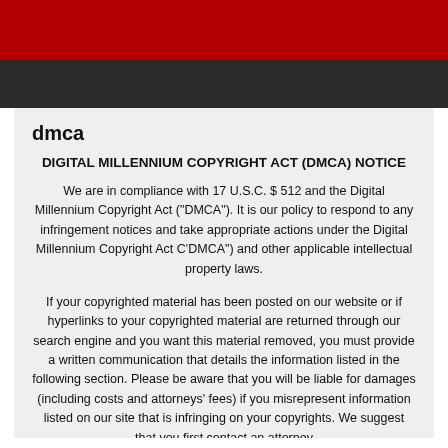dmca
DIGITAL MILLENNIUM COPYRIGHT ACT (DMCA) NOTICE
We are in compliance with 17 U.S.C. $ 512 and the Digital Millennium Copyright Act ("DMCA"). It is our policy to respond to any infringement notices and take appropriate actions under the Digital Millennium Copyright Act C'DMCA") and other applicable intellectual property laws.
If your copyrighted material has been posted on our website or if hyperlinks to your copyrighted material are returned through our search engine and you want this material removed, you must provide a written communication that details the information listed in the following section. Please be aware that you will be liable for damages (including costs and attorneys' fees) if you misrepresent information listed on our site that is infringing on your copyrights. We suggest that you first contact an attorney